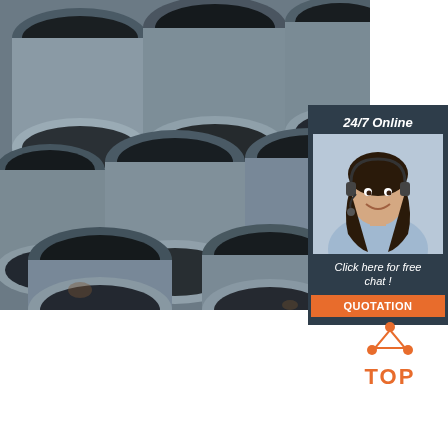[Figure (photo): Close-up photo of multiple steel hollow pipes/tubes stacked together, showing circular cross-sections. Dark metallic grey color.]
[Figure (infographic): Call-to-action sidebar panel with dark blue-grey background. Text '24/7 Online' at top, photo of smiling female customer service agent with headset, text 'Click here for free chat!', and orange 'QUOTATION' button.]
BATHROOM ACCESSORIES - BATHROOM
[Figure (logo): Orange 'TOP' logo with dotted triangle above the word TOP in orange bold letters.]